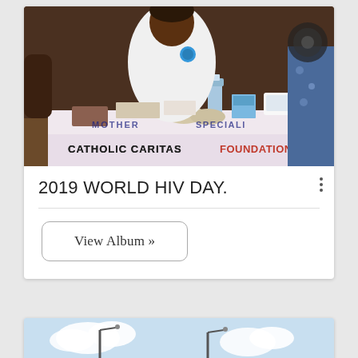[Figure (photo): Photo of a health worker in a white polo shirt with green collar trim sitting at a table covered with a white tablecloth branded 'Catholic Caritas Foundation'. Medical supplies, a water bottle, and testing equipment are on the table. A banner reading 'CATHOLIC CARITAS FOUNDATION' is visible at the bottom of the image.]
2019 WORLD HIV DAY.
View Album »